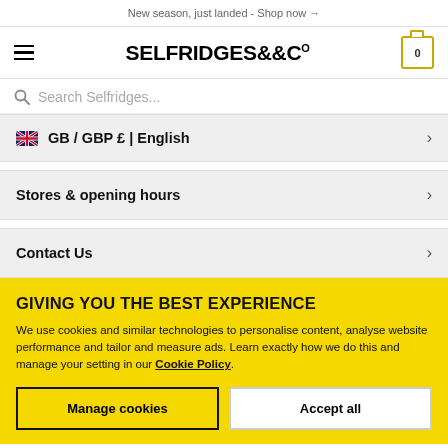New season, just landed - Shop now →
[Figure (logo): Selfridges & Co logo with hamburger menu and cart icon (0 items)]
Search Selfridges...
🇬🇧 GB / GBP £ | English
Stores & opening hours
Contact Us
GIVING YOU THE BEST EXPERIENCE
We use cookies and similar technologies to personalise content, analyse website performance and tailor and measure ads. Learn exactly how we do this and manage your setting in our Cookie Policy.
Manage cookies | Accept all